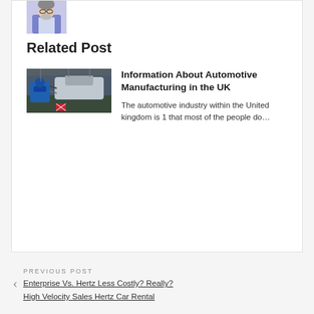[Figure (photo): Portrait photo of a man with glasses and beard wearing a blue blazer]
Related Post
[Figure (photo): Automotive manufacturing plant, car body being assembled with blue machinery visible]
Information About Automotive Manufacturing in the UK
The automotive industry within the United kingdom is 1 that most of the people do…
PREVIOUS POST
Enterprise Vs. Hertz Less Costly? Really? High Velocity Sales Hertz Car Rental